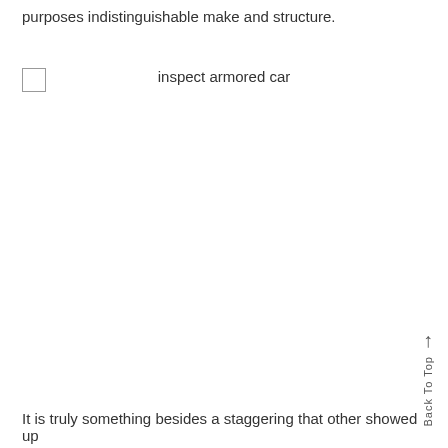purposes indistinguishable make and structure.
inspect armored car
It is truly something besides a staggering that other showed up